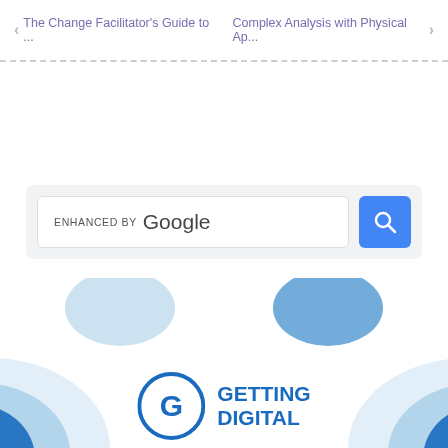← The Change Facilitator's Guide to ...   Complex Analysis with Physical Ap... →
[Figure (screenshot): Google enhanced search bar with blue search button]
[Figure (logo): Getting Digital logo with circular G icon and text GETTING DIGITAL in blue]